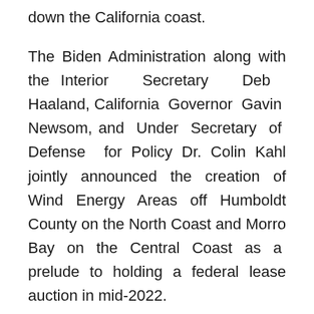down the California coast.
The Biden Administration along with the Interior Secretary Deb Haaland, California Governor Gavin Newsom, and Under Secretary of Defense for Policy Dr. Colin Kahl jointly announced the creation of Wind Energy Areas off Humboldt County on the North Coast and Morro Bay on the Central Coast as a prelude to holding a federal lease auction in mid-2022.
Redwood has been pressing for such an auction since it was formed in early